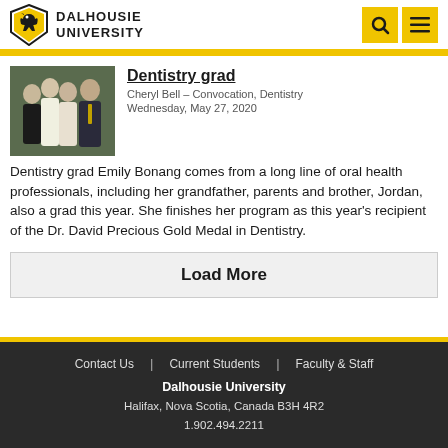DALHOUSIE UNIVERSITY
[Figure (photo): Group photo of four people at a formal event, smiling together]
Dentistry grad
Cheryl Bell – Convocation, Dentistry
Wednesday, May 27, 2020
Dentistry grad Emily Bonang comes from a long line of oral health professionals, including her grandfather, parents and brother, Jordan, also a grad this year. She finishes her program as this year's recipient of the Dr. David Precious Gold Medal in Dentistry.
Load More
Contact Us | Current Students | Faculty & Staff
Dalhousie University
Halifax, Nova Scotia, Canada B3H 4R2
1.902.494.2211